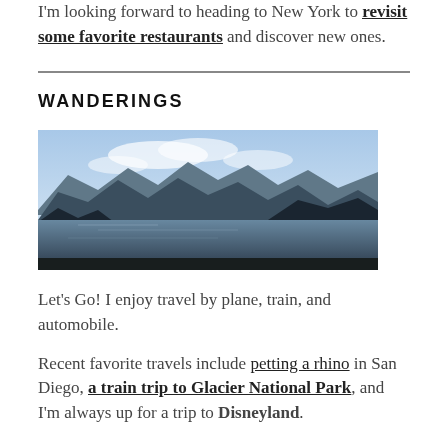I'm looking forward to heading to New York to revisit some favorite restaurants and discover new ones.
[Figure (photo): Landscape photo of a mountain lake scene with dark forested hills and mountains in the background under a partly cloudy sky]
Let's Go! I enjoy travel by plane, train, and automobile.
WANDERINGS
Recent favorite travels include petting a rhino in San Diego, a train trip to Glacier National Park, and I'm always up for a trip to Disneyland.